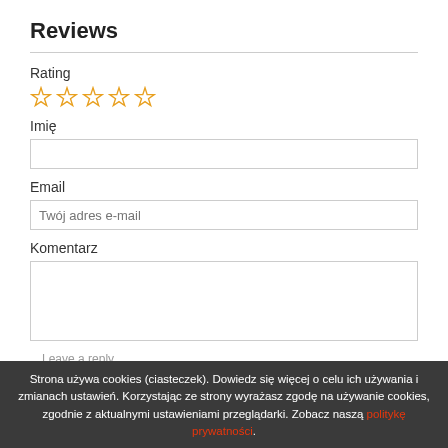Reviews
Rating
[Figure (other): Five empty star icons for rating selection, outlined in orange]
Imię
Email
Twój adres e-mail
Komentarz
Strona używa cookies (ciasteczek). Dowiedz się więcej o celu ich używania i zmianach ustawień. Korzystając ze strony wyrażasz zgodę na używanie cookies, zgodnie z aktualnymi ustawieniami przeglądarki. Zobacz naszą politykę prywatności.